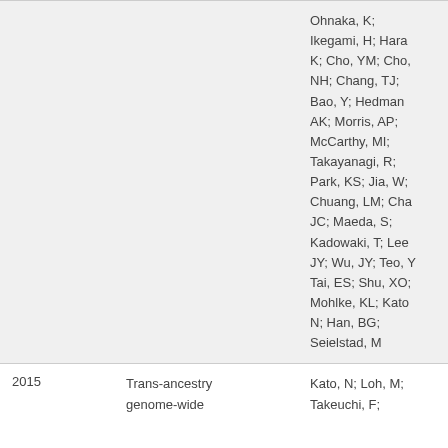| Year | Title | Authors |
| --- | --- | --- |
|  |  | Ohnaka, K; Ikegami, H; Hara K; Cho, YM; Cho, NH; Chang, TJ; Bao, Y; Hedman AK; Morris, AP; McCarthy, MI; Takayanagi, R; Park, KS; Jia, W; Chuang, LM; Cha JC; Maeda, S; Kadowaki, T; Lee JY; Wu, JY; Teo, Y; Tai, ES; Shu, XO; Mohlke, KL; Kato N; Han, BG; Seielstad, M |
| 2015 | Trans-ancestry genome-wide | Kato, N; Loh, M; Takeuchi, F; |